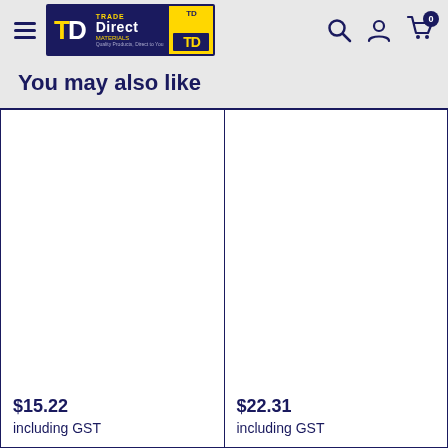Trade Direct Materials — Navigation header with logo, search, account, and cart icons
You may also like
$15.22
including GST
$22.31
including GST